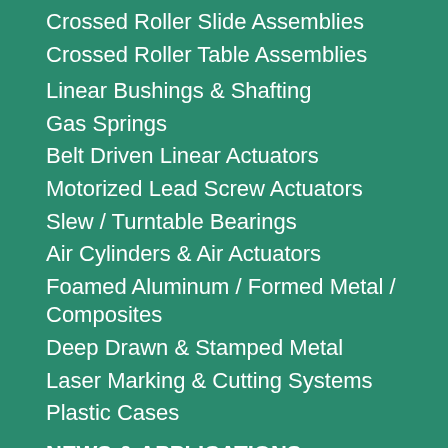Crossed Roller Slide Assemblies
Crossed Roller Table Assemblies
Linear Bushings & Shafting
Gas Springs
Belt Driven Linear Actuators
Motorized Lead Screw Actuators
Slew / Turntable Bearings
Air Cylinders & Air Actuators
Foamed Aluminum / Formed Metal / Composites
Deep Drawn & Stamped Metal
Laser Marking & Cutting Systems
Plastic Cases
NEWS & APPLICATIONS
ABOUT ISOTECH